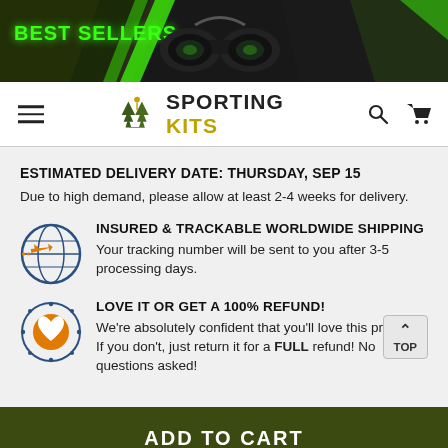[Figure (screenshot): E-commerce banner showing BEST SELLERS with binoculars image on dark background with green accents]
[Figure (logo): Sporting Kits logo with pine trees icon and text]
ESTIMATED DELIVERY DATE: THURSDAY, SEP 15
Due to high demand, please allow at least 2-4 weeks for delivery.
INSURED & TRACKABLE WORLDWIDE SHIPPING
Your tracking number will be sent to you after 3-5 processing days.
LOVE IT OR GET A 100% REFUND!
We're absolutely confident that you'll love this product. If you don't, just return it for a FULL refund! No questions asked!
ADD TO CART